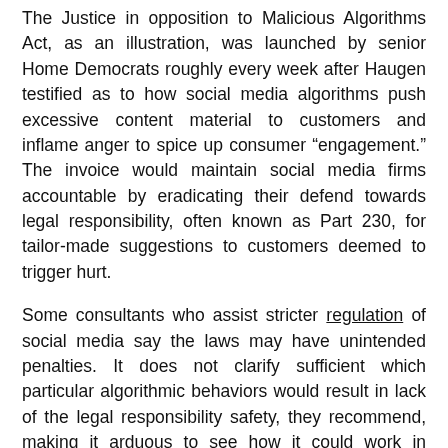The Justice in opposition to Malicious Algorithms Act, as an illustration, was launched by senior Home Democrats roughly every week after Haugen testified as to how social media algorithms push excessive content material to customers and inflame anger to spice up consumer “engagement.” The invoice would maintain social media firms accountable by eradicating their defend towards legal responsibility, often known as Part 230, for tailor-made suggestions to customers deemed to trigger hurt.
Some consultants who assist stricter regulation of social media say the laws may have unintended penalties. It does not clarify sufficient which particular algorithmic behaviors would result in lack of the legal responsibility safety, they recommend, making it arduous to see how it could work in observe and resulting in huge disagreement over what it would truly do.